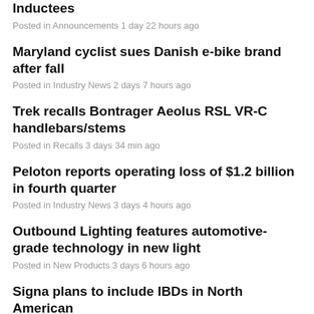Inductees
Posted in Announcements 1 day 22 hours ago
Maryland cyclist sues Danish e-bike brand after fall
Posted in Industry News 2 days 7 hours ago
Trek recalls Bontrager Aeolus RSL VR-C handlebars/stems
Posted in Recalls 3 days 34 min ago
Peloton reports operating loss of $1.2 billion in fourth quarter
Posted in Industry News 3 days 4 hours ago
Outbound Lighting features automotive-grade technology in new light
Posted in New Products 3 days 6 hours ago
Signa plans to include IBDs in North American